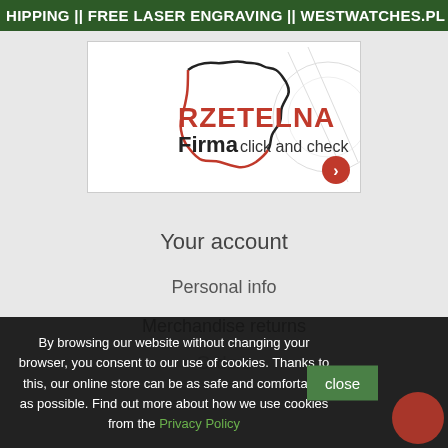HIPPING || FREE LASER ENGRAVING || WESTWATCHES.PL
[Figure (logo): RZETELNA Firma badge with outline of Poland map in black and red, text 'click and check' and red arrow button]
Your account
Personal info
Merchandise returns
Orders
By browsing our website without changing your browser, you consent to our use of cookies. Thanks to this, our online store can be as safe and comfortable as possible. Find out more about how we use cookies from the Privacy Policy